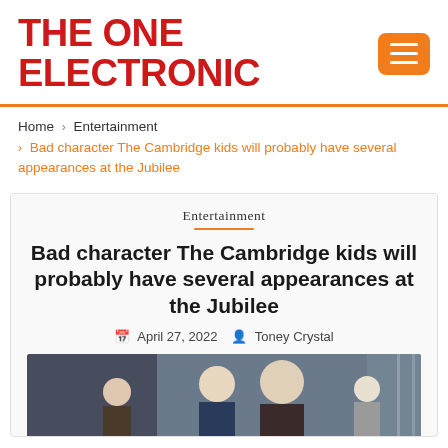THE ONE ELECTRONIC
Home › Entertainment › Bad character The Cambridge kids will probably have several appearances at the Jubilee
Entertainment
Bad character The Cambridge kids will probably have several appearances at the Jubilee
April 27, 2022  Toney Crystal
[Figure (photo): Photo of people, likely members of the British Royal Family, appearing on a balcony]